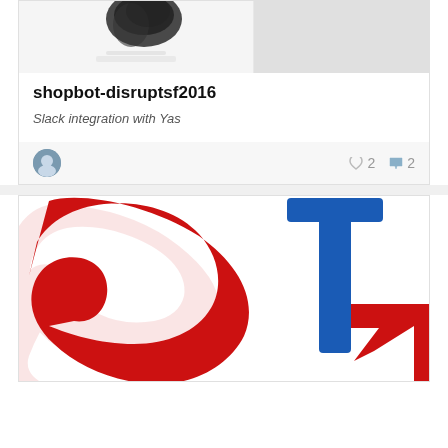[Figure (screenshot): Top portion of a project card showing a partial image of a dark face/head silhouette on a white/gray background, with a side panel.]
shopbot-disruptsf2016
Slack integration with Yas
[Figure (illustration): User avatar circle and heart/comment counts: 2 likes, 2 comments]
[Figure (logo): Second card showing a logo with a red curved arrow shape and a blue vertical bar/cursor icon on white background]